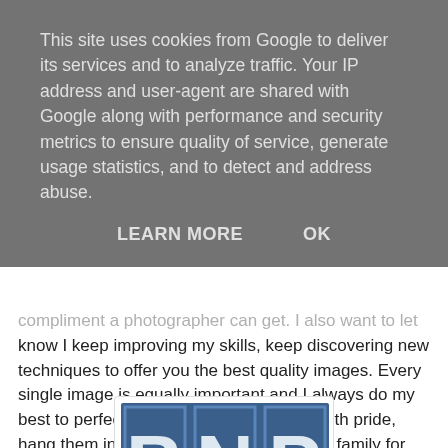This site uses cookies from Google to deliver its services and to analyze traffic. Your IP address and user-agent are shared with Google along with performance and security metrics to ensure quality of service, generate usage statistics, and to detect and address abuse.
LEARN MORE   OK
compliment a photographer can get. I also want to let you know I keep improving my skills, keep discovering new techniques to offer you the best quality images. Every single image is equally important and I always do my best to perfect every detail, so you can, with pride, hang them in your home and keep in your family for generations. This is my main purpose, to capture for you this evanescent emotion and help you to recall the feeling every time you look at my image:)
BestNewbornPhotographers.com/JM-photography
[Figure (logo): BNP logo with large blue letters B, N, P on a dark blue background]